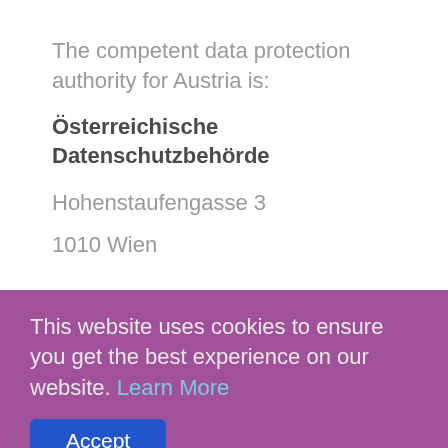The competent data protection authority for Austria is:
Österreichische Datenschutzbehörde
Hohenstaufengasse 3
1010 Wien
This website uses cookies to ensure you get the best experience on our website. Learn More
Accept